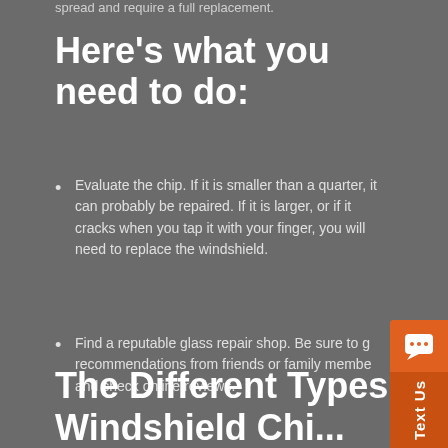spread and require a full replacement.
Here's what you need to do:
Evaluate the chip. If it is smaller than a quarter, it can probably be repaired. If it is larger, or if it cracks when you tap it with your finger, you will need to replace the windshield.
Find a reputable glass repair shop. Be sure to get recommendations from friends or family members and check online reviews.
Make an appointment for the repair. The sooner the better, as the chip is more likely to spread if it is not repaired quickly.
The Different Types of Windshield Chi...